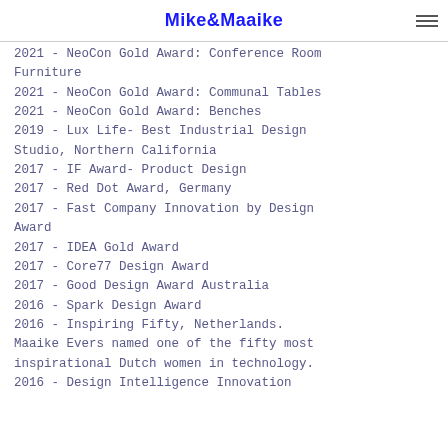Mike&Maaike
2021 - NeoCon Gold Award: Collections for Collaboration
2021 - NeoCon Gold Award: Conference Room Furniture
2021 - NeoCon Gold Award: Communal Tables
2021 - NeoCon Gold Award: Benches
2019 - Lux Life- Best Industrial Design Studio, Northern California
2017 - IF Award- Product Design
2017 - Red Dot Award, Germany
2017 - Fast Company Innovation by Design Award
2017 - IDEA Gold Award
2017 - Core77 Design Award
2017 - Good Design Award Australia
2016 - Spark Design Award
2016 - Inspiring Fifty, Netherlands. Maaike Evers named one of the fifty most inspirational Dutch women in technology.
2016 - Design Intelligence Innovation